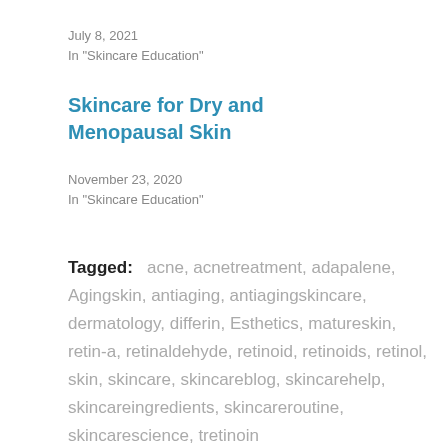July 8, 2021
In "Skincare Education"
Skincare for Dry and Menopausal Skin
November 23, 2020
In "Skincare Education"
Tagged:   acne, acnetreatment, adapalene, Agingskin, antiaging, antiagingskincare, dermatology, differin, Esthetics, matureskin, retin-a, retinaldehyde, retinoid, retinoids, retinol, skin, skincare, skincareblog, skincarehelp, skincareingredients, skincareroutine, skincarescience, tretinoin